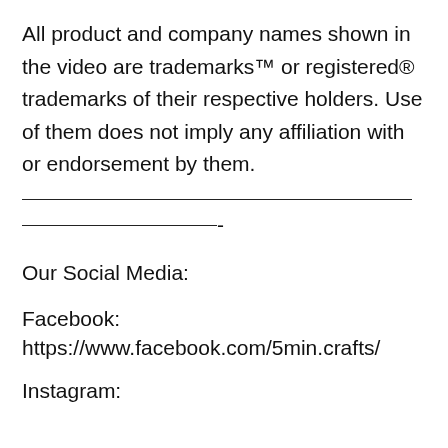All product and company names shown in the video are trademarks™ or registered® trademarks of their respective holders. Use of them does not imply any affiliation with or endorsement by them.
———————————————————————
———————————-
Our Social Media:
Facebook:
https://www.facebook.com/5min.crafts/
Instagram: